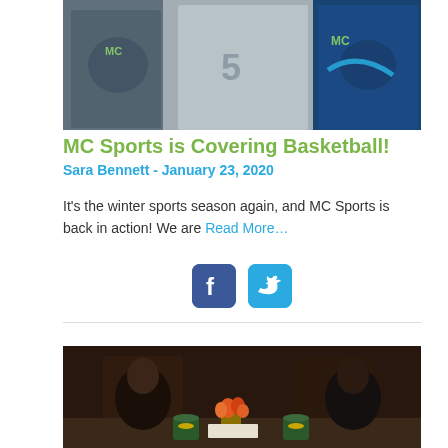[Figure (photo): Basketball players wearing MC Sports vests/jerseys, partial upper bodies visible]
MC Sports is Covering Basketball!
Sara Bennett - January 23, 2020
It's the winter sports season again, and MC Sports is back in action!  We are Read More…
[Figure (other): Social media buttons: Facebook and Twitter icons]
[Figure (photo): Two people seated at a table in a dark studio setting with mugs and flowers on the table]